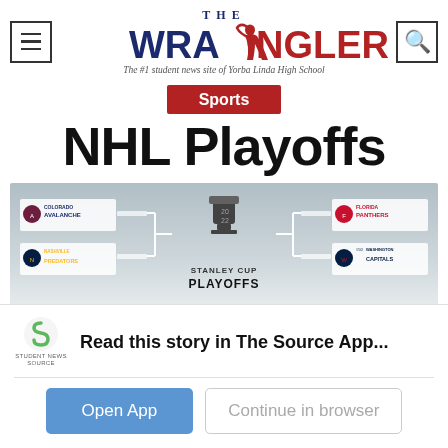[Figure (logo): The Wrangler logo — student news site of Yorba Linda High School, with blue and red text and a cowboy figure in the A]
Sports
NHL Playoffs
[Figure (screenshot): Stanley Cup Playoffs bracket image showing Colorado Avalanche, Nashville Predators on left side and Florida Panthers, Washington Capitals on right side]
Read this story in The Source App...
Open App   Continue in browser